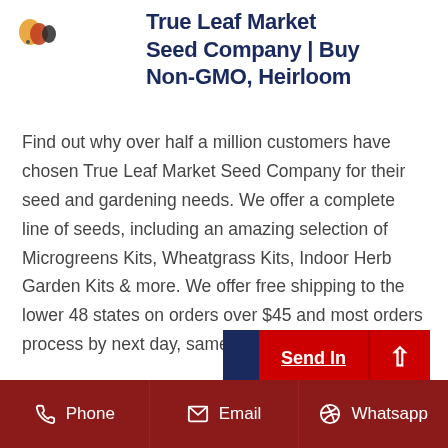[Figure (illustration): Small circular seed/food icons (yellow, orange, dark) shown in a row as a logo element for True Leaf Market Seed Company]
True Leaf Market Seed Company | Buy Non-GMO, Heirloom
Find out why over half a million customers have chosen True Leaf Market Seed Company for their seed and gardening needs. We offer a complete line of seeds, including an amazing selection of Microgreens Kits, Wheatgrass Kits, Indoor Herb Garden Kits & more. We offer free shipping to the lower 48 states on orders over $45 and most orders process by next day, same day in many cases.
[Figure (screenshot): A button UI element with blue left section, red middle section reading 'Send In...' (Send Inquiry), and a red right section with an upward arrow icon]
Phone   Email   Whatsapp